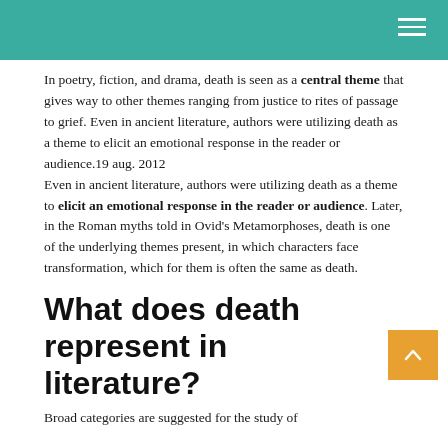In poetry, fiction, and drama, death is seen as a central theme that gives way to other themes ranging from justice to rites of passage to grief. Even in ancient literature, authors were utilizing death as a theme to elicit an emotional response in the reader or audience.19 aug. 2012
Even in ancient literature, authors were utilizing death as a theme to elicit an emotional response in the reader or audience. Later, in the Roman myths told in Ovid's Metamorphoses, death is one of the underlying themes present, in which characters face transformation, which for them is often the same as death.
What does death represent in literature?
Broad categories are suggested for the study of